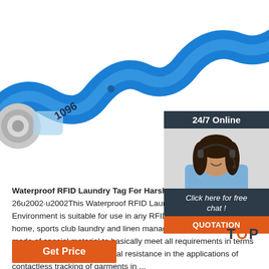[Figure (photo): Close-up photo of a blue flexible RFID laundry wristband/tag numbered 1096 with a snap button, coiled in a wave shape on a white background]
24/7 Online
[Figure (photo): Customer service agent woman wearing headset, smiling]
Click here for free chat !
QUOTATION
Waterproof RFID Laundry Tag For Harsh Environment 2021-7-26u2002·u2002This Waterproof RFID Laundry Tag For Harsh Environment is suitable for use in any RFID hotel, spa, nursing home, sports club laundry and linen management application. It is made of special material to basically meet all requirements in terms of heat, pressure and chemical resistance in the applications of contactless tracking of garments in ...
Get Price